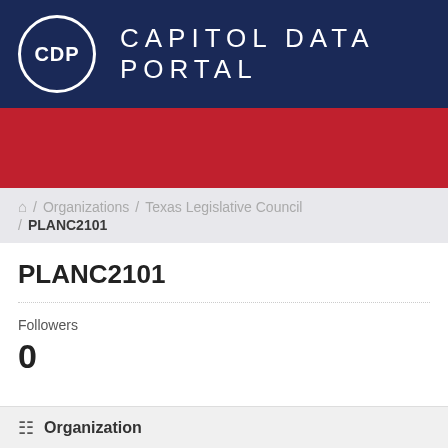[Figure (logo): Capitol Data Portal logo: circular CDP emblem in white on navy background, with 'CAPITOL DATA PORTAL' text in white spaced capitals]
[Figure (other): Red decorative bar below the header]
/ Organizations / Texas Legislative Council / PLANC2101
PLANC2101
Followers
0
Organization
[Figure (logo): Partial circular logo with star emblem at bottom of page]